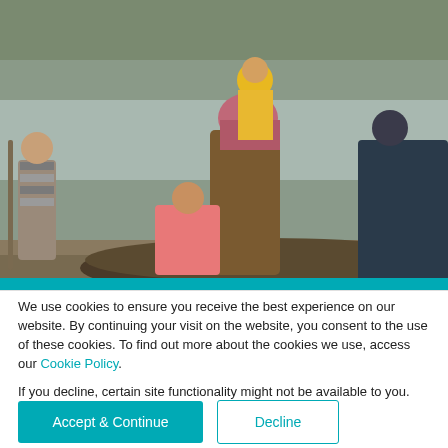[Figure (photo): People in a wooden boat near a riverbank. A woman in a headscarf and brown fur coat holds a child in a yellow hat. Another person in a pink jacket crouches in the boat. A man in dark clothing leans over on the right. A man with a striped shirt stands on the left shore with an oar.]
LESSON
We use cookies to ensure you receive the best experience on our website. By continuing your visit on the website, you consent to the use of these cookies. To find out more about the cookies we use, access our Cookie Policy.
If you decline, certain site functionality might not be available to you.
Accept & Continue
Decline